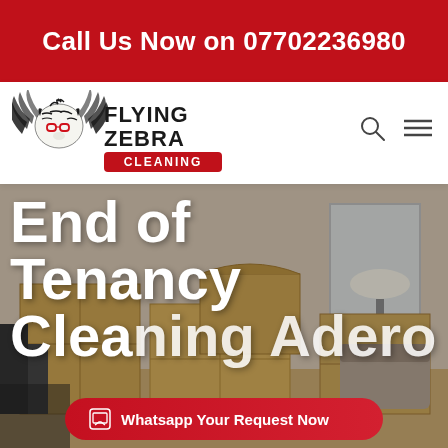Call Us Now on 07702236980
[Figure (logo): Flying Zebra Cleaning logo with zebra wearing glasses and wings]
End of Tenancy Cleaning Adero
Whatsapp Your Request Now